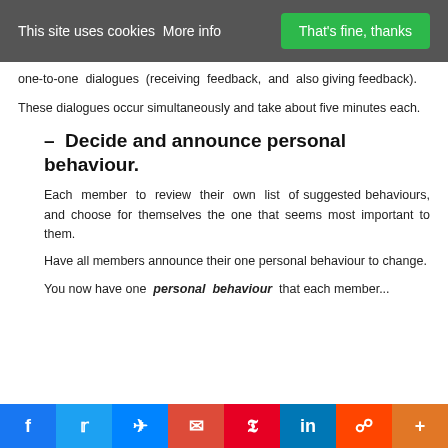This site uses cookies More info | That's fine, thanks
one-to-one dialogues (receiving feedback, and also giving feedback).
These dialogues occur simultaneously and take about five minutes each.
– Decide and announce personal behaviour.
Each member to review their own list of suggested behaviours, and choose for themselves the one that seems most important to them.
Have all members announce their one personal behaviour to change.
You now have one personal behaviour that each member...